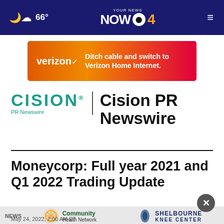66° YOUR NEWS NOW CBS 4
[Figure (infographic): Verizon advertisement banner: orange to red gradient, text 'verizon/ Ditch cable and switch to Verizon Home Internet.']
[Figure (logo): Cision PR Newswire logo — teal CISION text with registered mark and 'PR Newswire' subtitle, vertical divider, bold black 'Cision PR Newswire' text]
Moneycorp: Full year 2021 and Q1 2022 Trading Update
NEWS Moneycorp May 24, 2022, 2:00 AM ET
[Figure (infographic): Bottom advertisement banner with Community Health Network logo and Shelbourne Knee Center logo]